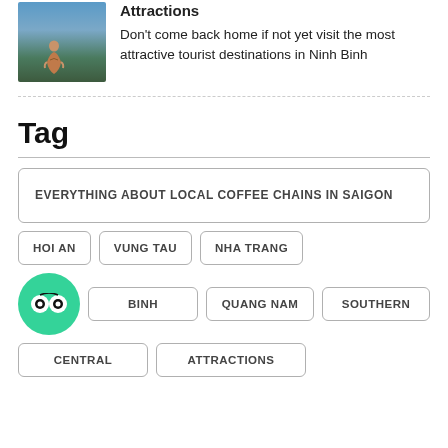[Figure (photo): Thumbnail photo of a person sitting on rocks with mountain/cliff scenery and blue sky]
Attractions
Don't come back home if not yet visit the most attractive tourist destinations in Ninh Binh
Tag
EVERYTHING ABOUT LOCAL COFFEE CHAINS IN SAIGON
HOI AN
VUNG TAU
NHA TRANG
BINH
QUANG NAM
SOUTHERN
CENTRAL
ATTRACTIONS